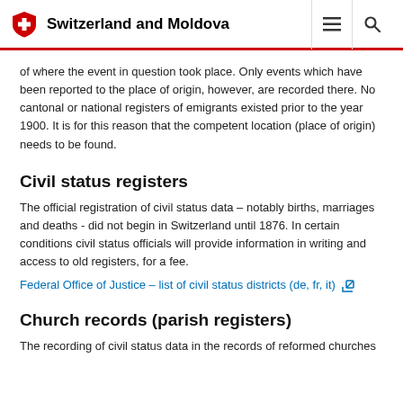Switzerland and Moldova
of where the event in question took place. Only events which have been reported to the place of origin, however, are recorded there. No cantonal or national registers of emigrants existed prior to the year 1900. It is for this reason that the competent location (place of origin) needs to be found.
Civil status registers
The official registration of civil status data – notably births, marriages and deaths - did not begin in Switzerland until 1876. In certain conditions civil status officials will provide information in writing and access to old registers, for a fee.
Federal Office of Justice – list of civil status districts (de, fr, it)
Church records (parish registers)
The recording of civil status data in the records of reformed churches